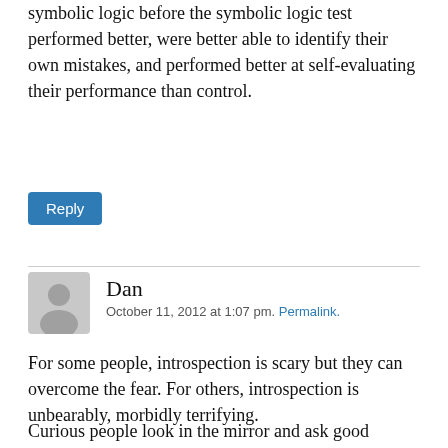symbolic logic before the symbolic logic test performed better, were better able to identify their own mistakes, and performed better at self-evaluating their performance than control.
Reply
Dan
October 11, 2012 at 1:07 pm. Permalink.
For some people, introspection is scary but they can overcome the fear. For others, introspection is unbearably, morbidly terrifying.
Curious people look in the mirror and ask good questions. Incurious people would never think to do